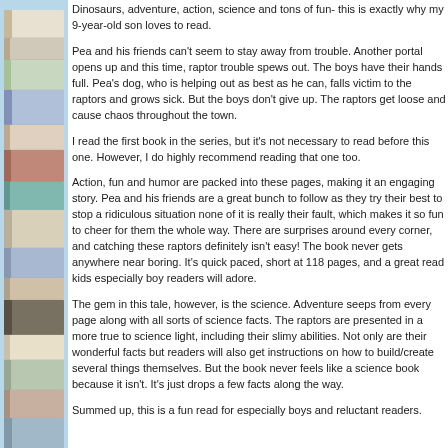[Figure (photo): Stack of books visible along the left sidebar with a light blue background]
Dinosaurs, adventure, action, science and tons of fun- this is exactly why my 9-year-old son loves to read.
Pea and his friends can't seem to stay away from trouble. Another portal opens up and this time, raptor trouble spews out. The boys have their hands full. Pea's dog, who is helping out as best as he can, falls victim to the raptors and grows sick. But the boys don't give up. The raptors get loose and cause chaos throughout the town.
I read the first book in the series, but it's not necessary to read before this one. However, I do highly recommend reading that one too.
Action, fun and humor are packed into these pages, making it an engaging story. Pea and his friends are a great bunch to follow as they try their best to stop a ridiculous situation none of it is really their fault, which makes it so fun to cheer for them the whole way. There are surprises around every corner, and catching these raptors definitely isn't easy! The book never gets anywhere near boring. It's quick paced, short at 118 pages, and a great read kids especially boy readers will adore.
The gem in this tale, however, is the science. Adventure seeps from every page along with all sorts of science facts. The raptors are presented in a more true to science light, including their slimy abilities. Not only are their wonderful facts but readers will also get instructions on how to build/create several things themselves. But the book never feels like a science book because it isn't. It's just drops a few facts along the way.
Summed up, this is a fun read for especially boys and reluctant readers.